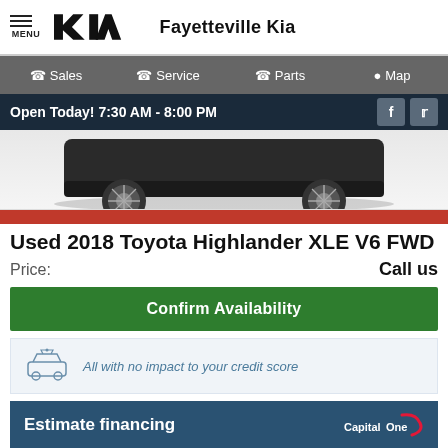MENU | KIA | Fayetteville Kia
Sales | Service | Parts | Map
Open Today! 7:30 AM - 8:00 PM
[Figure (photo): Partial rear view of a dark-colored vehicle (Toyota Highlander) showing the wheel and lower rear section against a white background]
Used 2018 Toyota Highlander XLE V6 FWD
Price: Call us
Confirm Availability
All with no impact to your credit score
Estimate financing